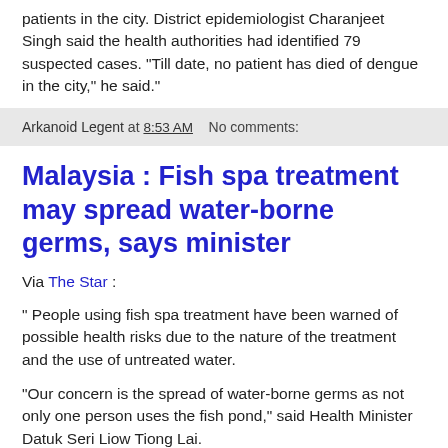patients in the city. District epidemiologist Charanjeet Singh said the health authorities had identified 79 suspected cases. "Till date, no patient has died of dengue in the city," he said."
Arkanoid Legent at 8:53 AM   No comments:
Malaysia : Fish spa treatment may spread water-borne germs, says minister
Via The Star :
" People using fish spa treatment have been warned of possible health risks due to the nature of the treatment and the use of untreated water.
“Our concern is the spread of water-borne germs as not only one person uses the fish pond,” said Health Minister Datuk Seri Liow Tiong Lai.